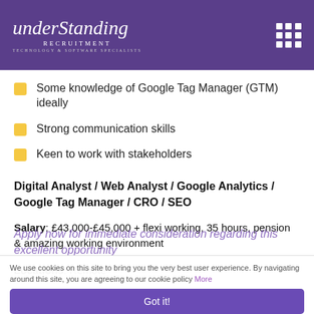Understanding Recruitment — Technology & Software Specialists
Some knowledge of Google Tag Manager (GTM) ideally
Strong communication skills
Keen to work with stakeholders
Digital Analyst / Web Analyst / Google Analytics / Google Tag Manager / CRO / SEO
Salary: £43,000-£45,000 + flexi working, 35 hours, pension & amazing working environment
Locations: Remote
Apply now for immediate consideration regarding this excellent opportunity
We use cookies on this site to bring you the very best user experience. By navigating around this site, you are agreeing to our cookie policy More
Got it!